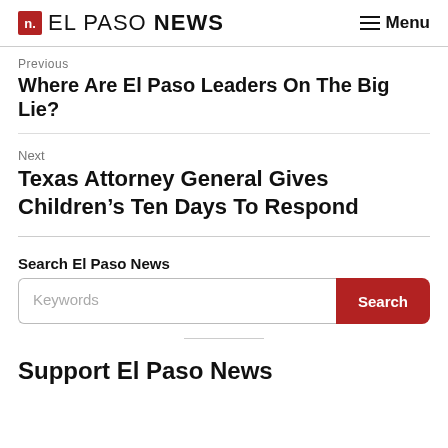n. EL PASO NEWS   ≡ Menu
Previous
Where Are El Paso Leaders On The Big Lie?
Next
Texas Attorney General Gives Children's Ten Days To Respond
Search El Paso News
Keywords  Search
Support El Paso News